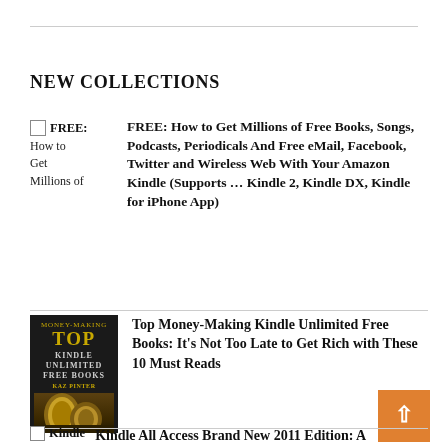NEW COLLECTIONS
FREE: How to Get Millions of Free Books, Songs, Podcasts, Periodicals And Free eMail, Facebook, Twitter and Wireless Web With Your Amazon Kindle (Supports ... Kindle 2, Kindle DX, Kindle for iPhone App)
[Figure (photo): Book cover: Top Money-Making Kindle Unlimited Free Books with gold title text on dark background with coin imagery]
Top Money-Making Kindle Unlimited Free Books: It's Not Too Late to Get Rich with These 10 Must Reads
Kindle All Access Brand New 2011 Edition: A